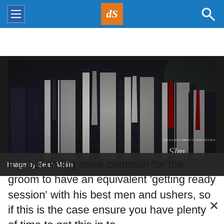dPS navigation bar with hamburger menu, dPS logo, and search icon
[Figure (photo): Black and white photograph of a row of groomsmen in dark suits with ties, viewed from chest level. Watermark reads 'SEANMOLIN PHOTOGRAPHER' with a stylized script signature.]
Image by Sean Molin
It is becoming more common for the groom to have an equivalent ‘getting ready session’ with his best men and ushers, so if this is the case ensure you have plenty of time to get this in to